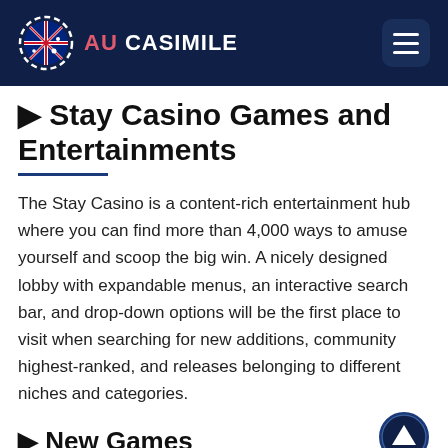AU CASIMILE
🎮 Stay Casino Games and Entertainments
The Stay Casino is a content-rich entertainment hub where you can find more than 4,000 ways to amuse yourself and scoop the big win. A nicely designed lobby with expandable menus, an interactive search bar, and drop-down options will be the first place to visit when searching for new additions, community highest-ranked, and releases belonging to different niches and categories.
🎮 New Games
By default, the casino lists all titles, but the collection of